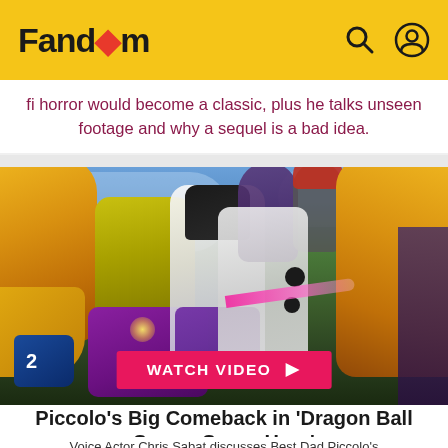Fandom
fi horror would become a classic, plus he talks unseen footage and why a sequel is a bad idea.
[Figure (illustration): Dragon Ball Super: Super Hero anime artwork showing Piccolo (green character), Gohan (white gi), and other characters in battle poses. A pink energy beam is visible. Yellow-suited characters frame both sides.]
WATCH VIDEO ▶
Piccolo's Big Comeback in 'Dragon Ball Super: Super Hero'
Voice Actor Chris Sabat discusses Best Dad Piccolo's big role and changes classic in Dragon Ball Super: Super Hero